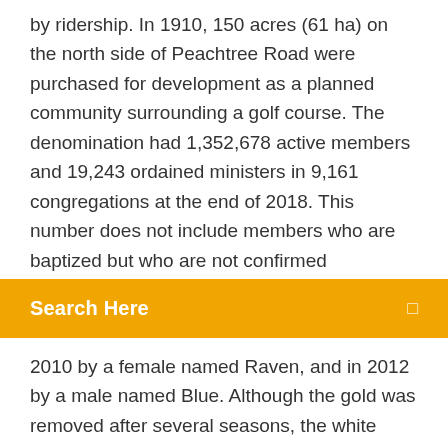by ridership. In 1910, 150 acres (61 ha) on the north side of Peachtree Road were purchased for development as a planned community surrounding a golf course. The denomination had 1,352,678 active members and 19,243 ordained ministers in 9,161 congregations at the end of 2018. This number does not include members who are baptized but who are not confirmed
Search Here
2010 by a female named Raven, and in 2012 by a male named Blue. Although the gold was removed after several seasons, the white remains to this day. They wore white pants and either black or white jerseys.
11 Jan 2019 Peachtree 2005 Free Download software setup in single direct link. Its complete offline installer standalone setup of Peachtree 2005 fully tested working. The version under review today is Peachtree 2005. With Peachtree 2005 now you can convert your financial statements and reports in PDF f...